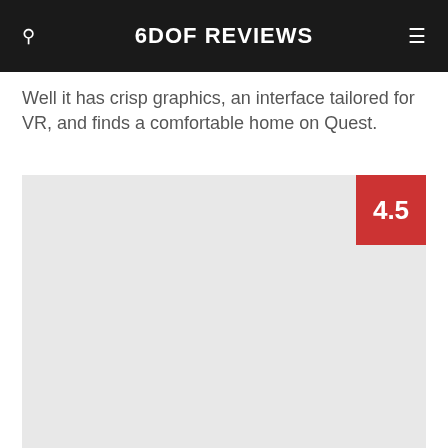6DOF REVIEWS
Well it has crisp graphics, an interface tailored for VR, and finds a comfortable home on Quest.
[Figure (other): Large light gray image placeholder with a red score badge showing 4.5 in the upper right corner]